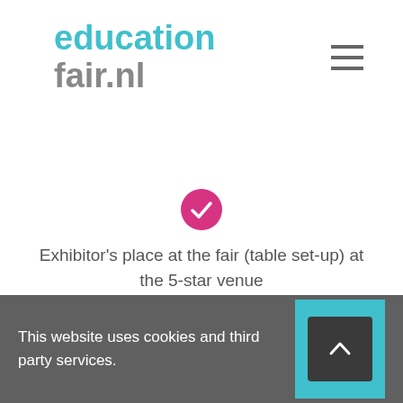[Figure (logo): educationfair.nl logo in teal and grey colors with hamburger menu icon]
Exhibitor's place at the fair (table set-up) at the 5-star venue
Online promotion campaign and lead generation campaign
This website uses cookies and third party services.